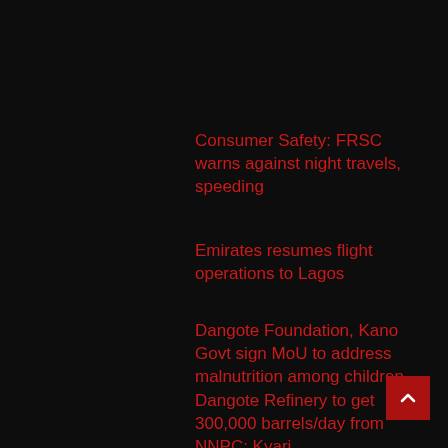Consumer Safety: FRSC warns against night travels, speeding
Emirates resumes flight operations to Lagos
Dangote Foundation, Kano Govt sign MoU to address malnutrition among children
Dangote Refinery to get 300,000 barrels/day from NNPC: Kyari